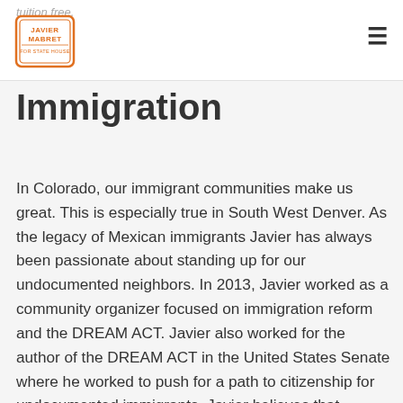tuition free.
[Figure (logo): Javier Mabret campaign logo with orange shield/house icon and text 'JAVIER MABRET FOR STATE HOUSE']
Immigration
In Colorado, our immigrant communities make us great. This is especially true in South West Denver. As the legacy of Mexican immigrants Javier has always been passionate about standing up for our undocumented neighbors. In 2013, Javier worked as a community organizer focused on immigration reform and the DREAM ACT. Javier also worked for the author of the DREAM ACT in the United States Senate where he worked to push for a path to citizenship for undocumented immigrants. Javier believes that undocumented Coloradans should be able to vote in local elections, these communities pay taxes and they should have a say in their communities. As your State Representative Javier will support legislation that will give undocumented Coloradans the right to vote in local elections, and he wants to make sure that